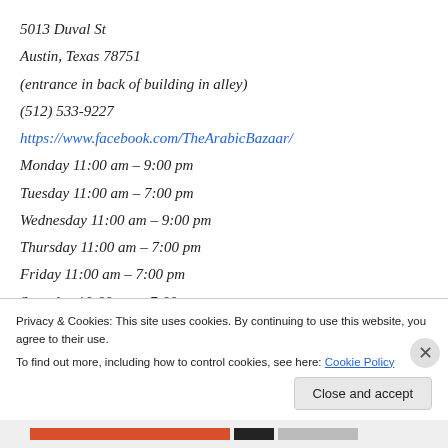5013 Duval St
Austin, Texas 78751
(entrance in back of building in alley)
(512) 533-9227
https://www.facebook.com/TheArabicBazaar/
Monday 11:00 am – 9:00 pm
Tuesday 11:00 am – 7:00 pm
Wednesday 11:00 am – 9:00 pm
Thursday 11:00 am – 7:00 pm
Friday 11:00 am – 7:00 pm
Saturday 10:00 am – 7:00 pm
Privacy & Cookies: This site uses cookies. By continuing to use this website, you agree to their use. To find out more, including how to control cookies, see here: Cookie Policy